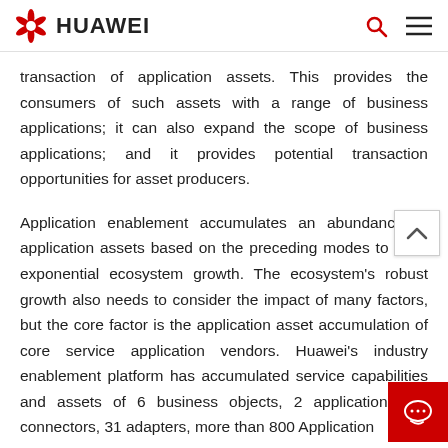HUAWEI
transaction of application assets. This provides the consumers of such assets with a range of business applications; it can also expand the scope of business applications; and it provides potential transaction opportunities for asset producers.
Application enablement accumulates an abundance of application assets based on the preceding modes to drive exponential ecosystem growth. The ecosystem’s robust growth also needs to consider the impact of many factors, but the core factor is the application asset accumulation of core service application vendors. Huawei’s industry enablement platform has accumulated service capabilities and assets of 6 business objects, 2 applications, 12 connectors, 31 adapters, more than 800 Application